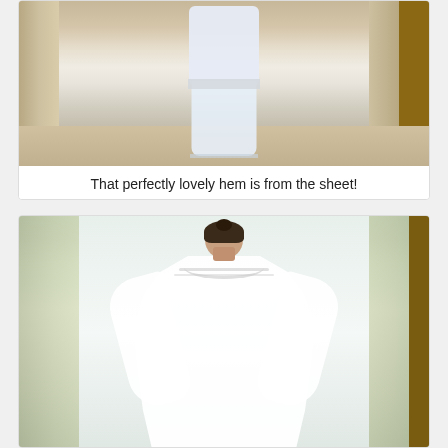[Figure (photo): Person wearing white clothing/garment standing in a room with curtains and a door, photographed from the waist down showing a hemmed bottom edge]
That perfectly lovely hem is from the sheet!
[Figure (photo): Woman seen from behind wearing a white gathered/smocked blouse or garment with wide sleeves and a wide neckline, standing in front of curtains by a window]